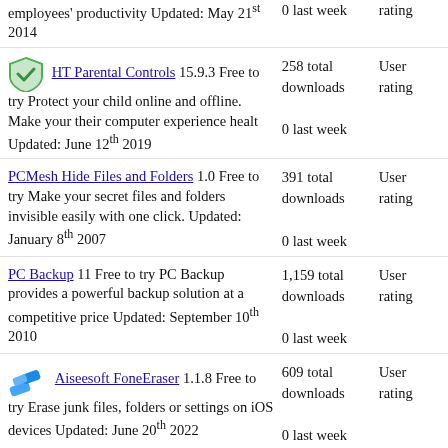employees' productivity Updated: May 21st 2014 | 0 last week | rating
HT Parental Controls 15.9.3 Free to try Protect your child online and offline. Make your their computer experience healt Updated: June 12th 2019 | 258 total downloads | 0 last week | User rating
PCMesh Hide Files and Folders 1.0 Free to try Make your secret files and folders invisible easily with one click. Updated: January 8th 2007 | 391 total downloads | 0 last week | User rating
PC Backup 11 Free to try PC Backup provides a powerful backup solution at a competitive price Updated: September 10th 2010 | 1,159 total downloads | 0 last week | User rating
Aiseesoft FoneEraser 1.1.8 Free to try Erase junk files, folders or settings on iOS devices Updated: June 20th 2022 | 609 total downloads | 0 last week | User rating